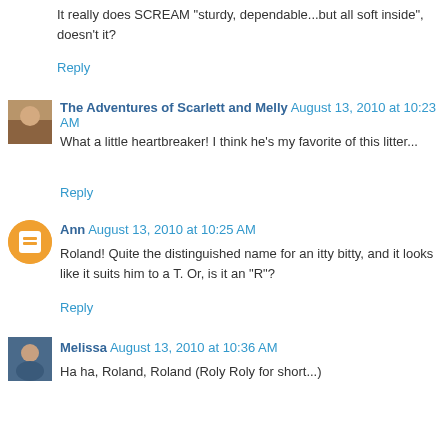It really does SCREAM "sturdy, dependable...but all soft inside", doesn't it?
Reply
The Adventures of Scarlett and Melly August 13, 2010 at 10:23 AM
What a little heartbreaker! I think he's my favorite of this litter...
Reply
Ann August 13, 2010 at 10:25 AM
Roland! Quite the distinguished name for an itty bitty, and it looks like it suits him to a T. Or, is it an "R"?
Reply
Melissa August 13, 2010 at 10:36 AM
Ha ha, Roland, Roland (Roly Roly for short...)